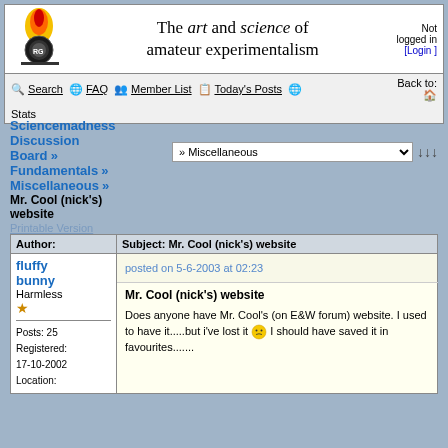[Figure (logo): Sciencemadness.org logo with flame and circular RG emblem]
The art and science of amateur experimentalism
Not logged in [Login]
Search  FAQ  Member List  Today's Posts  Stats  Back to:
Sciencemadness Discussion Board » Fundamentals » Miscellaneous » Mr. Cool (nick's) website
» Miscellaneous
Printable Version
| Author: | Subject: Mr. Cool (nick's) website |
| --- | --- |
| fluffy bunny
Harmless
★

Posts: 25
Registered: 17-10-2002
Location: | posted on 5-6-2003 at 02:23

Mr. Cool (nick's) website

Does anyone have Mr. Cool's (on E&W forum) website. I used to have it.....but i've lost it 😕 I should have saved it in favourites....... |